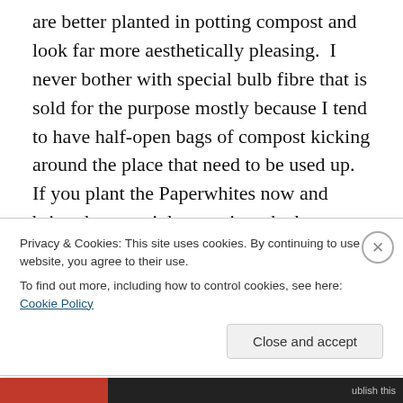are better planted in potting compost and look far more aesthetically pleasing.  I never bother with special bulb fibre that is sold for the purpose mostly because I tend to have half-open bags of compost kicking around the place that need to be used up.  If you plant the Paperwhites now and bring them straightaway into the house they can be in flower in six to eight weeks.  Those in the photos below were placed in our conservatory and, with the unanticipated warmth from a week of late autumn sunshine which accelerated their growth, have come into flower in just three weeks from planting.  So much for
Privacy & Cookies: This site uses cookies. By continuing to use this website, you agree to their use.
To find out more, including how to control cookies, see here: Cookie Policy
Close and accept